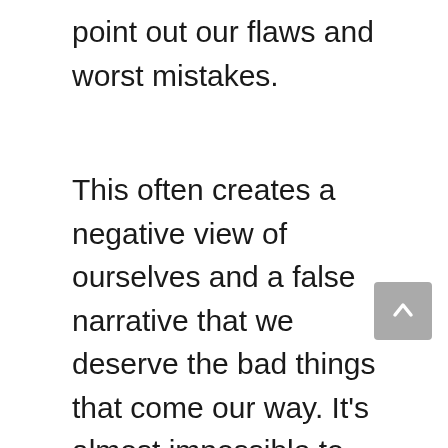point out our flaws and worst mistakes.
This often creates a negative view of ourselves and a false narrative that we deserve the bad things that come our way. It’s almost impossible to have a positive outlook on life if you have a negative relationship with yourself. If you want to focus on all the good this life has to offer, then it has to start with yourself.